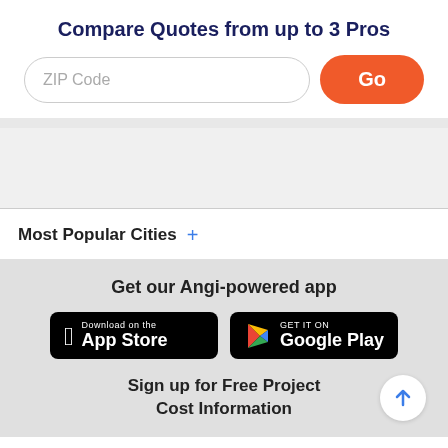Compare Quotes from up to 3 Pros
[Figure (screenshot): ZIP Code input field and Go button]
Most Popular Cities +
Get our Angi-powered app
[Figure (logo): Download on the App Store button]
[Figure (logo): GET IT ON Google Play button]
Sign up for Free Project Cost Information